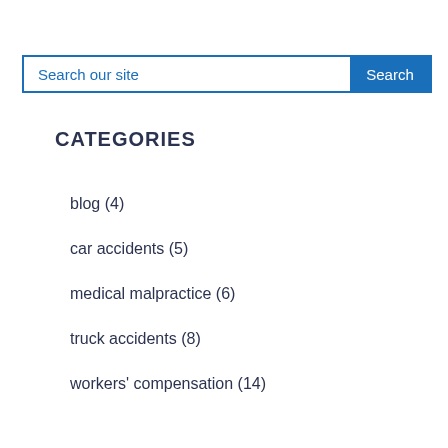[Figure (screenshot): Search bar with text 'Search our site' and a blue 'Search' button]
CATEGORIES
blog (4)
car accidents (5)
medical malpractice (6)
truck accidents (8)
workers' compensation (14)